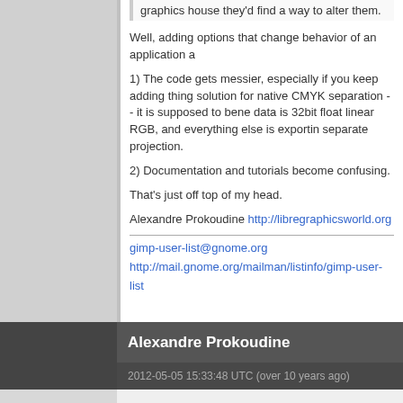graphics house they'd find a way to alter them.
Well, adding options that change behavior of an application a
1) The code gets messier, especially if you keep adding things. solution for native CMYK separation -- it is supposed to bene data is 32bit float linear RGB, and everything else is exportin separate projection.
2) Documentation and tutorials become confusing.
That's just off top of my head.
Alexandre Prokoudine http://libregraphicsworld.org
gimp-user-list@gnome.org
http://mail.gnome.org/mailman/listinfo/gimp-user-list
Alexandre Prokoudine
2012-05-05 15:33:48 UTC (over 10 years ago)
HATE the new save vs. export behavior